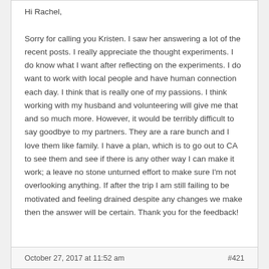Hi Rachel,

Sorry for calling you Kristen. I saw her answering a lot of the recent posts. I really appreciate the thought experiments. I do know what I want after reflecting on the experiments. I do want to work with local people and have human connection each day. I think that is really one of my passions. I think working with my husband and volunteering will give me that and so much more. However, it would be terribly difficult to say goodbye to my partners. They are a rare bunch and I love them like family. I have a plan, which is to go out to CA to see them and see if there is any other way I can make it work; a leave no stone unturned effort to make sure I'm not overlooking anything. If after the trip I am still failing to be motivated and feeling drained despite any changes we make then the answer will be certain. Thank you for the feedback!
October 27, 2017 at 11:52 am    #421